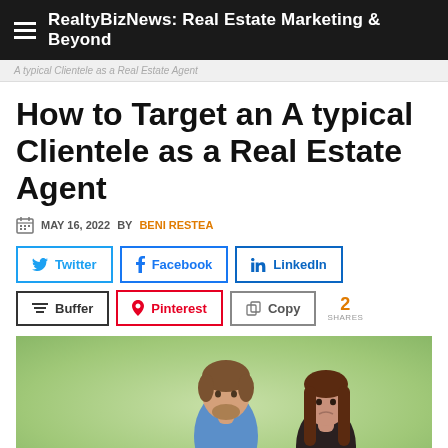RealtyBizNews: Real Estate Marketing & Beyond
A typical Clientele as a Real Estate Agent
How to Target an A typical Clientele as a Real Estate Agent
MAY 16, 2022 BY BENI RESTEA
Twitter | Facebook | LinkedIn | Buffer | Pinterest | Copy | 2 SHARES
[Figure (photo): A man and a woman standing together, looking in different directions, against a blurred green background.]